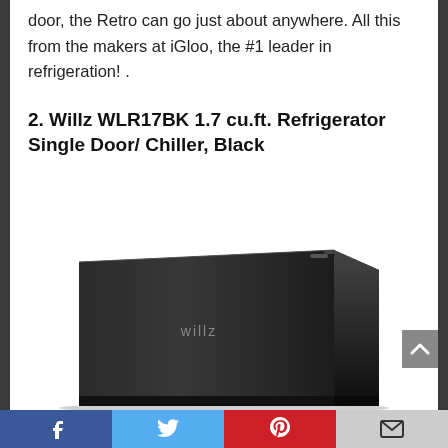door, the Retro can go just about anywhere. All this from the makers at iGloo, the #1 leader in refrigeration! .
2. Willz WLR17BK 1.7 cu.ft. Refrigerator Single Door/ Chiller, Black
[Figure (photo): Photo of a Willz black mini refrigerator with the willz logo on the door, shown at a slight angle]
Social sharing bar with Facebook, Twitter, Pinterest, and Email buttons